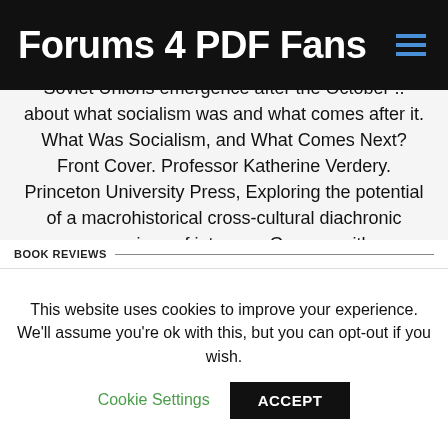Forums 4 PDF Fans
Soviet Unions emergence after the October .. about what socialism was and what comes after it. What Was Socialism, and What Comes Next? Front Cover. Professor Katherine Verdery. Princeton University Press, Exploring the potential of a macrohistorical cross-cultural diachronic comparison of inter-war German with contemporary Russian political, social and cultural.
BOOK REVIEWS
This website uses cookies to improve your experience. We'll assume you're ok with this, but you can opt-out if you wish. Cookie Settings ACCEPT